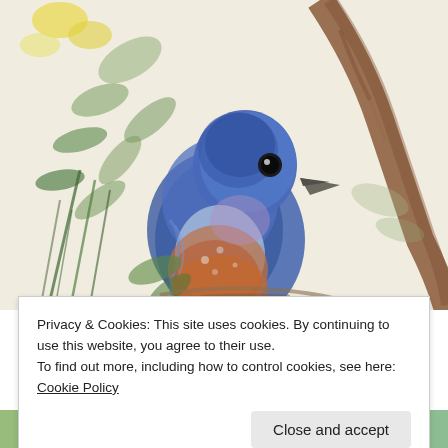[Figure (illustration): Watercolor painting of a blue bird (Eastern Bluebird) with orange-rust breast, perched among green foliage and a brown branch. Yellow flowers visible in the upper left background. The bird faces right with a dark eye visible.]
Privacy & Cookies: This site uses cookies. By continuing to use this website, you agree to their use.
To find out more, including how to control cookies, see here: Cookie Policy
Close and accept